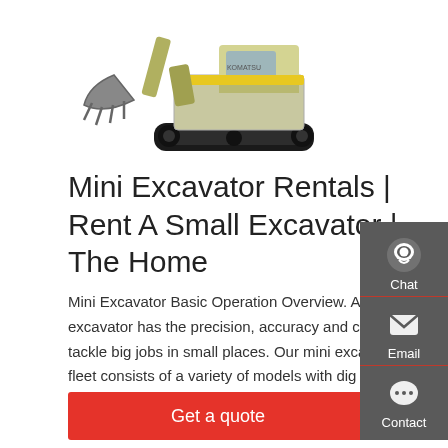[Figure (photo): Photo of a yellow mini excavator with a large bucket attachment on white background]
Mini Excavator Rentals | Rent A Small Excavator | The Home
Mini Excavator Basic Operation Overview. A compact excavator has the precision, accuracy and control to tackle big jobs in small places. Our mini excavator rental fleet consists of a variety of models with dig depths of up to 11'7". From basic property improvement to small scale excavation, a pro-quality mini excavator will help you
Get a quote